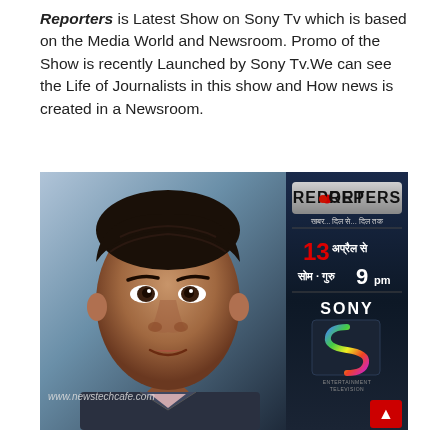Reporters is Latest Show on Sony Tv which is based on the Media World and Newsroom. Promo of the Show is recently Launched by Sony Tv.We can see the Life of Journalists in this show and How news is created in a Newsroom.
[Figure (photo): A man's face on the left side with a dark news studio background, and on the right a dark panel showing the 'REPORTERS' show logo, Hindi text tagline, date '13 अप्रैल से', time 'सोम · गुरु 9pm', and Sony Entertainment Television logo. Watermark 'www.newstechcafe.com' visible in lower left.]